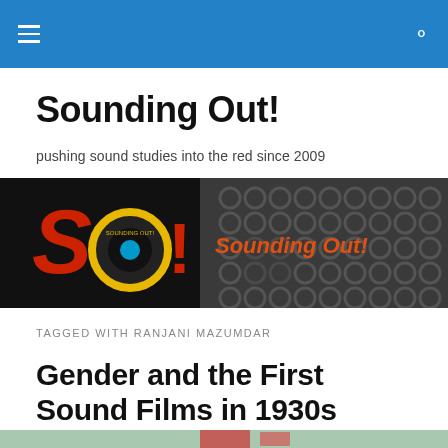Sounding Out!
pushing sound studies into the red since 2009
[Figure (photo): Banner image showing microphones in black and white with the Sounding Out! logo (S and O letters in red and yellow with a vinyl record, and blue dot) and 'Sounding Out!' text in orange/red on the right side.]
TAGGED WITH RANJANI MAZUMDAR
Gender and the First Sound Films in 1930s Bombay
[Figure (photo): Bottom portion of an article thumbnail image, partially visible.]